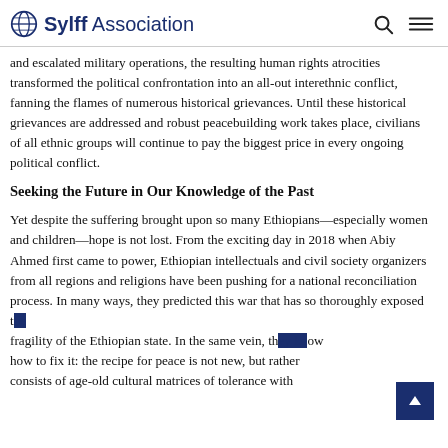Sylff Association
and escalated military operations, the resulting human rights atrocities transformed the political confrontation into an all-out interethnic conflict, fanning the flames of numerous historical grievances. Until these historical grievances are addressed and robust peacebuilding work takes place, civilians of all ethnic groups will continue to pay the biggest price in every ongoing political conflict.
Seeking the Future in Our Knowledge of the Past
Yet despite the suffering brought upon so many Ethiopians—especially women and children—hope is not lost. From the exciting day in 2018 when Abiy Ahmed first came to power, Ethiopian intellectuals and civil society organizers from all regions and religions have been pushing for a national reconciliation process. In many ways, they predicted this war that has so thoroughly exposed the fragility of the Ethiopian state. In the same vein, they know how to fix it: the recipe for peace is not new, but rather consists of age-old cultural matrices of tolerance with…